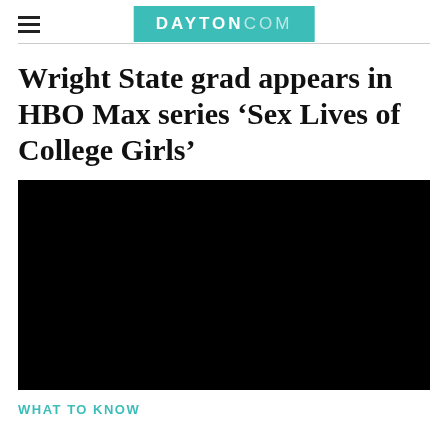DAYTON.COM
Wright State grad appears in HBO Max series ‘Sex Lives of College Girls’
[Figure (photo): Black video player area, presumably an embedded video related to the article about Wright State grad in HBO Max series.]
WHAT TO KNOW